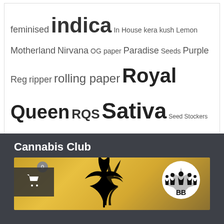feminised indica In House kera kush Lemon Motherland Nirvana OG paper Paradise Seeds Purple Reg ripper rolling paper Royal Queen RQS Sativa Seed Stockers Sensi strawberry sweet sweet seeds TH Seeds White Widow
Cannabis Club
[Figure (photo): Cannabis club card image with warm golden/orange sunset background, cannabis leaf silhouettes on the left, a shopping cart widget with badge showing 0 in the top-left corner, and a circular BB logo with suited figures on the right]